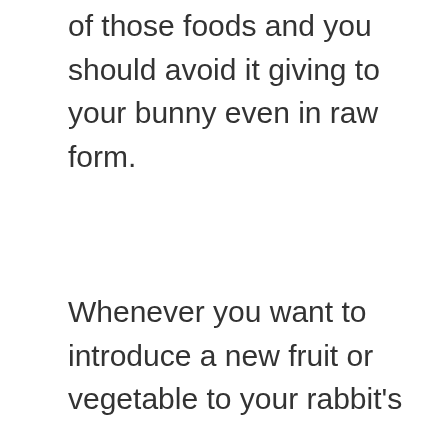of those foods and you should avoid it giving to your bunny even in raw form.
Whenever you want to introduce a new fruit or vegetable to your rabbit's